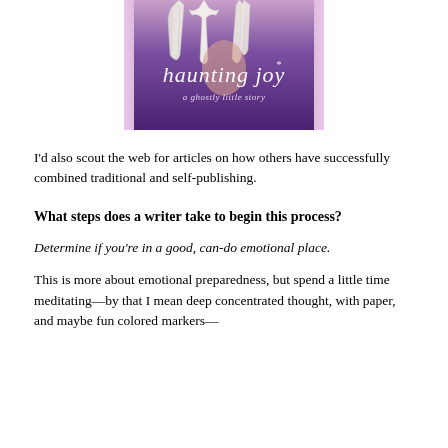[Figure (illustration): Book cover for 'haunting joy: a ghostly little story' showing hanging white sheets/garments against a purple/pink background with the title text in decorative font]
I'd also scout the web for articles on how others have successfully combined traditional and self-publishing.
What steps does a writer take to begin this process?
Determine if you're in a good, can-do emotional place.
This is more about emotional preparedness, but spend a little time meditating—by that I mean deep concentrated thought, with paper, and maybe fun colored markers—